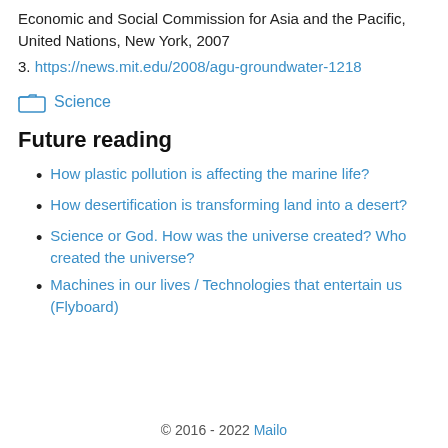Economic and Social Commission for Asia and the Pacific, United Nations, New York, 2007
3. https://news.mit.edu/2008/agu-groundwater-1218
Science
Future reading
How plastic pollution is affecting the marine life?
How desertification is transforming land into a desert?
Science or God. How was the universe created? Who created the universe?
Machines in our lives / Technologies that entertain us (Flyboard)
© 2016 - 2022 Mailo